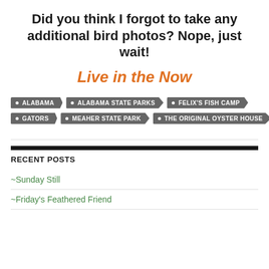Did you think I forgot to take any additional bird photos? Nope, just wait!
Live in the Now
ALABAMA
ALABAMA STATE PARKS
FELIX'S FISH CAMP
GATORS
MEAHER STATE PARK
THE ORIGINAL OYSTER HOUSE
RECENT POSTS
~Sunday Still
~Friday's Feathered Friend